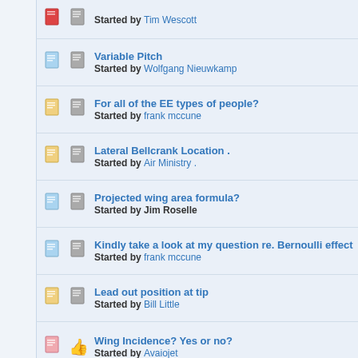Variable Pitch - Started by Wolfgang Nieuwkamp
For all of the EE types of people? - Started by frank mccune
Lateral Bellcrank Location . - Started by Air Ministry .
Projected wing area formula? - Started by Jim Roselle
Kindly take a look at my question re. Bernoulli effect in Engine Set - Started by frank mccune
Lead out position at tip - Started by Bill Little
Wing Incidence? Yes or no? - Started by Avaiojet
Pages: [1] 2 3 4  Go Up
stunthanger.com » Design » Engineering board (Moderator: Serge_Krauss)